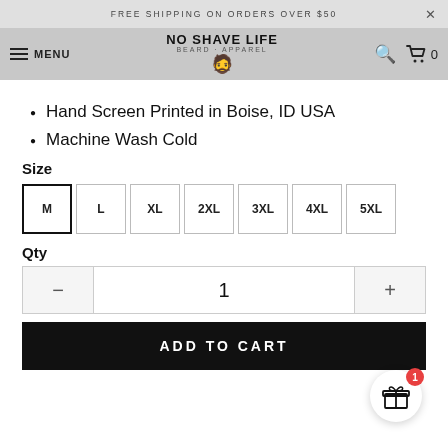FREE SHIPPING ON ORDERS OVER $50
[Figure (logo): No Shave Life brand logo with beard icon and navigation bar including MENU, search icon, and cart with 0 items]
Hand Screen Printed in Boise, ID USA
Machine Wash Cold
Size
M  L  XL  2XL  3XL  4XL  5XL
Qty
1
ADD TO CART